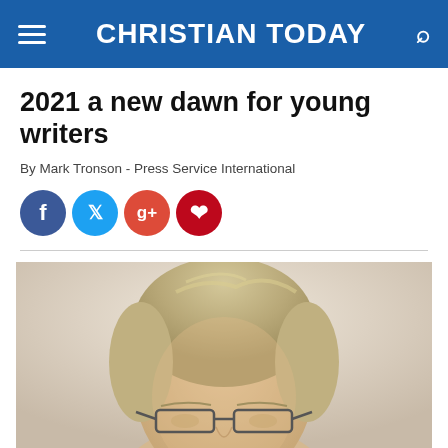CHRISTIAN TODAY
2021 a new dawn for young writers
By Mark Tronson - Press Service International
[Figure (other): Social media sharing icons: Facebook, Twitter, Google+, Pinterest]
[Figure (photo): Portrait photo of a middle-aged man with blonde/grey hair and rectangular glasses, photographed against a light background, cropped to show head and upper shoulders]